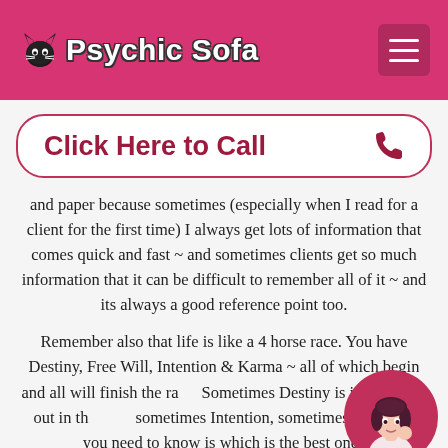Psychic Sofa
Click Here to Call
and paper because sometimes (especially when I read for a client for the first time) I always get lots of information that comes quick and fast ~ and sometimes clients get so much information that it can be difficult to remember all of it ~ and its always a good reference point too.
Remember also that life is like a 4 horse race. You have Destiny, Free Will, Intention & Karma ~ all of which begin and all will finish the race. Sometimes Destiny is in front and out in the lead, sometimes Intention, sometimes Free Will and what you need to know is which is the best one back
[Figure (illustration): Circular avatar of a cartoon woman with dark hair, wearing white, with a thoughtful pose on a pink background]